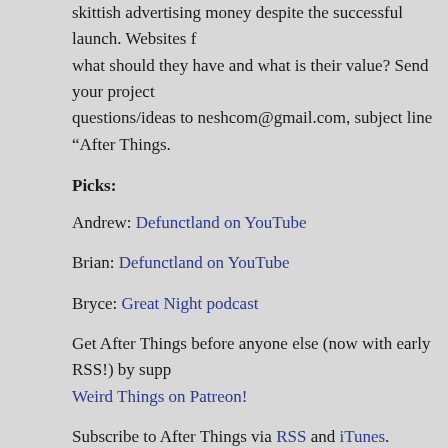skittish advertising money despite the successful launch. Websites f what should they have and what is their value? Send your project questions/ideas to neshcom@gmail.com, subject line “After Things.
Picks:
Andrew: Defunctland on YouTube
Brian: Defunctland on YouTube
Bryce: Great Night podcast
Get After Things before anyone else (now with early RSS!) by supp Weird Things on Patreon!
Subscribe to After Things via RSS and iTunes.
Follow us on Facebook
Download url: http://www.itricks.com/upload/AfterThings070521.m
Listen now